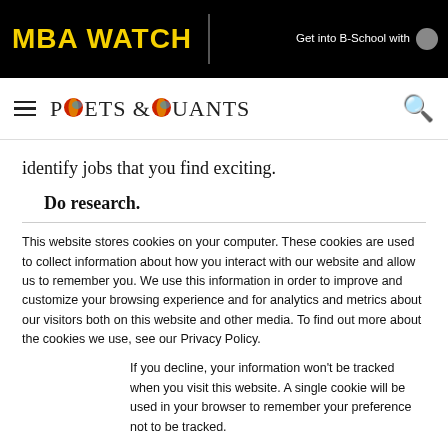MBA WATCH | Get into B-School with [icon]
[Figure (logo): Poets & Quants logo with colorful ball replacing O letters, on white navigation bar with hamburger menu and search icon]
identify jobs that you find exciting.
Do research.
This website stores cookies on your computer. These cookies are used to collect information about how you interact with our website and allow us to remember you. We use this information in order to improve and customize your browsing experience and for analytics and metrics about our visitors both on this website and other media. To find out more about the cookies we use, see our Privacy Policy.
If you decline, your information won't be tracked when you visit this website. A single cookie will be used in your browser to remember your preference not to be tracked.
Accept | Decline